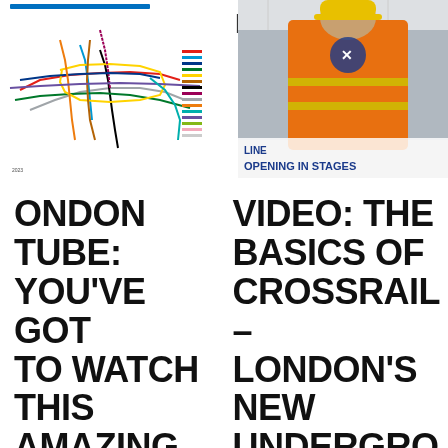[Figure (map): London Underground tube map showing coloured lines across the network with a legend on the right side]
[Figure (photo): Worker in orange hi-vis jacket and yellow hard hat standing in front of a sign reading 'LINE OPENING IN STAGES' - a Crossrail construction photo]
LONDON TUBE: YOU'VE GOT TO WATCH THIS AMAZING MESMERIZING...
VIDEO: THE BASICS OF CROSSRAIL – LONDON'S NEW UNDERGROUND LINE